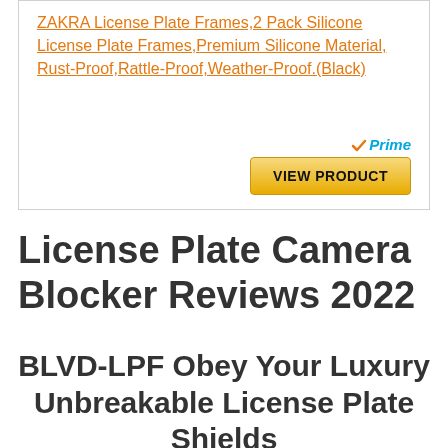ZAKRA License Plate Frames,2 Pack Silicone License Plate Frames,Premium Silicone Material, Rust-Proof,Rattle-Proof,Weather-Proof.(Black)
[Figure (other): Amazon Prime logo with checkmark and 'Prime' text, and a gold 'VIEW PRODUCT' button]
License Plate Camera Blocker Reviews 2022
BLVD-LPF Obey Your Luxury Unbreakable License Plate Shields